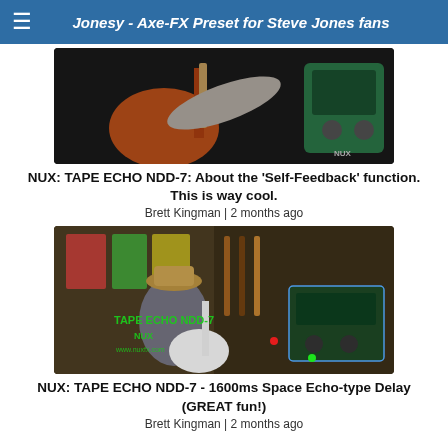Jonesy - Axe-FX Preset for Steve Jones fans
[Figure (photo): Video thumbnail showing a person playing an orange electric guitar with a NUX pedal visible on the right side]
NUX: TAPE ECHO NDD-7: About the 'Self-Feedback' function. This is way cool.
Brett Kingman | 2 months ago
[Figure (photo): Video thumbnail showing a person playing a white Stratocaster guitar with overlay showing TAPE ECHO NDD-7 NUX pedal information and www.nuxfx.com website]
NUX: TAPE ECHO NDD-7 - 1600ms Space Echo-type Delay (GREAT fun!)
Brett Kingman | 2 months ago